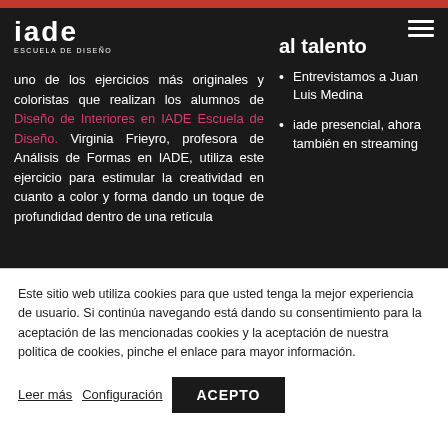[Figure (logo): IADE Escuela de Diseño logo — white text on dark background]
al talento
Entrevistamos a Juan Luis Medina
iade presencial, ahora también en streaming
uno de los ejercicios más originales y coloristas que realizan los alumnos de Diseño de Interiores en IADE Escuela de Diseño. Virginia Frieyro, profesora de Análisis de Formas en IADE, utiliza este ejercicio para estimular la creatividad en cuanto a color y forma dando un toque de profundidad dentro de una retícula
Este sitio web utiliza cookies para que usted tenga la mejor experiencia de usuario. Si continúa navegando está dando su consentimiento para la aceptación de las mencionadas cookies y la aceptación de nuestra politica de cookies, pinche el enlace para mayor información.
Leer más  Configuración  ACEPTO